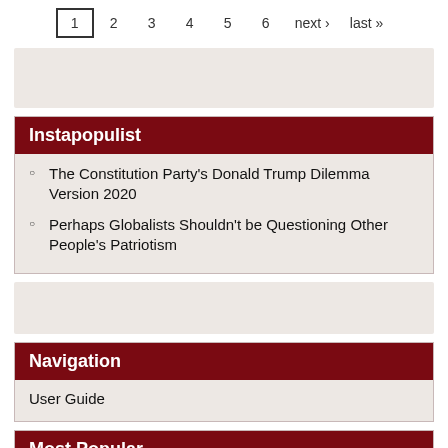1 2 3 4 5 6 next › last »
Instapopulist
The Constitution Party's Donald Trump Dilemma Version 2020
Perhaps Globalists Shouldn't be Questioning Other People's Patriotism
Navigation
User Guide
Most Popular